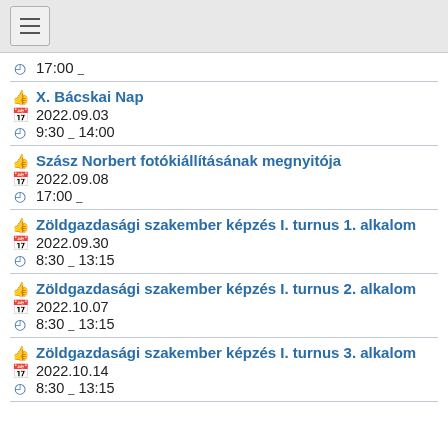≡ (menu)
17:00 -
X. Bácskai Nap | 2022.09.03 | 9:30 - 14:00
Szász Norbert fotókiállításának megnyitója | 2022.09.08 | 17:00 -
Zöldgazdasági szakember képzés I. turnus 1. alkalom | 2022.09.30 | 8:30 - 13:15
Zöldgazdasági szakember képzés I. turnus 2. alkalom | 2022.10.07 | 8:30 - 13:15
Zöldgazdasági szakember képzés I. turnus 3. alkalom | 2022.10.14 | 8:30 - 13:15